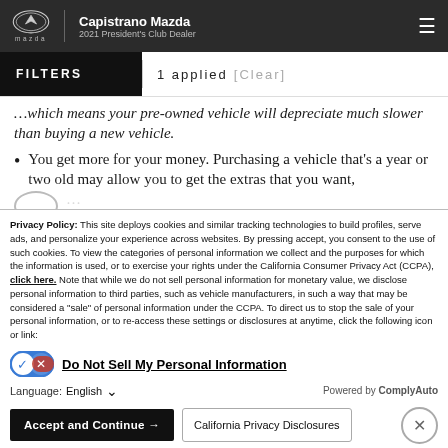Capistrano Mazda | 2021 President's Club Dealer
FILTERS | 1 applied [Clear]
…which means your pre-owned vehicle will depreciate much slower than buying a new vehicle.
You get more for your money. Purchasing a vehicle that's a year or two old may allow you to get the extras that you want,
Privacy Policy: This site deploys cookies and similar tracking technologies to build profiles, serve ads, and personalize your experience across websites. By pressing accept, you consent to the use of such cookies. To view the categories of personal information we collect and the purposes for which the information is used, or to exercise your rights under the California Consumer Privacy Act (CCPA), click here. Note that while we do not sell personal information for monetary value, we disclose personal information to third parties, such as vehicle manufacturers, in such a way that may be considered a "sale" of personal information under the CCPA. To direct us to stop the sale of your personal information, or to re-access these settings or disclosures at anytime, click the following icon or link:
Do Not Sell My Personal Information
Language: English
Powered by ComplyAuto
Accept and Continue →
California Privacy Disclosures